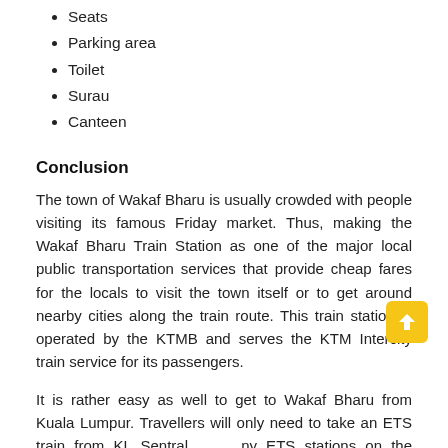Seats
Parking area
Toilet
Surau
Canteen
Conclusion
The town of Wakaf Bharu is usually crowded with people visiting its famous Friday market. Thus, making the Wakaf Bharu Train Station as one of the major local public transportation services that provide cheap fares for the locals to visit the town itself or to get around nearby cities along the train route. This train station is operated by the KTMB and serves the KTM Intercity train service for its passengers.
It is rather easy as well to get to Wakaf Bharu from Kuala Lumpur. Travellers will only need to take an ETS train from KL Sentral (or any ETS stations on the same route) going towards Gemas for a train transfer via KTM Intercity before continuing to Wakaf Bharu Train Station.